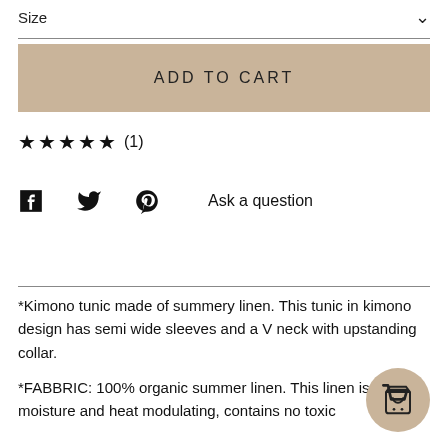Size
ADD TO CART
★★★★★ (1)
[Figure (infographic): Social sharing icons: Facebook, Twitter, Pinterest, and Ask a question link]
*Kimono tunic made of summery linen. This tunic in kimono design has semi wide sleeves and a V neck with upstanding collar.

*FABBRIC: 100% organic summer linen. This linen is highly moisture and heat modulating, contains no toxic
[Figure (infographic): Floating cart button (beige circle with shopping cart icon)]